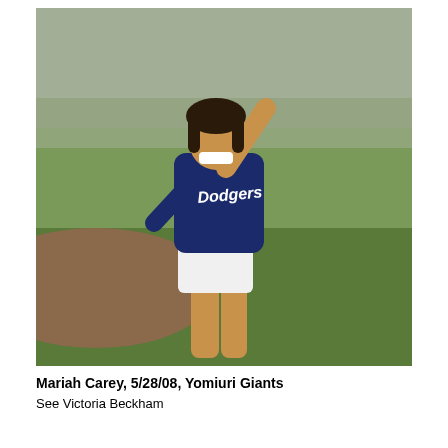[Figure (photo): A woman wearing a navy blue Los Angeles Dodgers jacket and white shorts throwing a pitch on a baseball field. She is mid-throw, arm raised, on a grass field with dirt infield visible in the background.]
Mariah Carey, 5/28/08, Yomiuri Giants
See Victoria Beckham